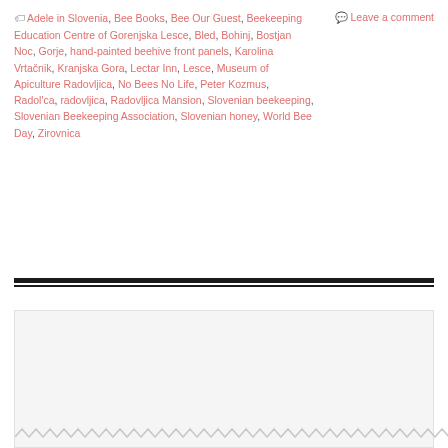🏷 Adele in Slovenia, Bee Books, Bee Our Guest, Beekeeping Education Centre of Gorenjska Lesce, Bled, Bohinj, Bostjan Noc, Gorje, hand-painted beehive front panels, Karolina Vrtačnik, Kranjska Gora, Lectar Inn, Lesce, Museum of Apiculture Radovljica, No Bees No Life, Peter Kozmus, Radol'ca, radovljica, Radovljica Mansion, Slovenian beekeeping, Slovenian Beekeeping Association, Slovenian honey, World Bee Day, Zirovnica
💬 Leave a comment
ADELE IN SLOVENIA